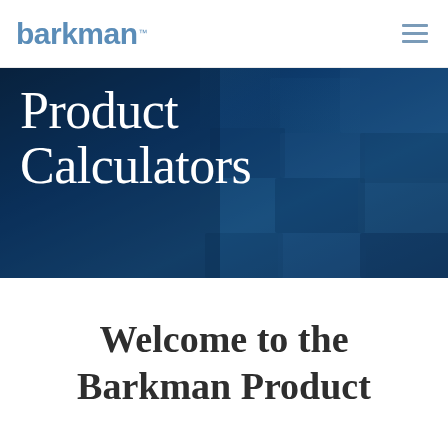barkman™
Product Calculators
Welcome to the Barkman Product